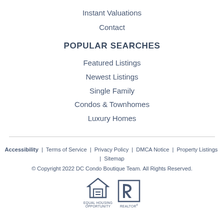Instant Valuations
Contact
POPULAR SEARCHES
Featured Listings
Newest Listings
Single Family
Condos & Townhomes
Luxury Homes
Accessibility | Terms of Service | Privacy Policy | DMCA Notice | Property Listings | Sitemap
© Copyright 2022 DC Condo Boutique Team. All Rights Reserved.
[Figure (logo): Equal Housing Opportunity and Realtor logos]